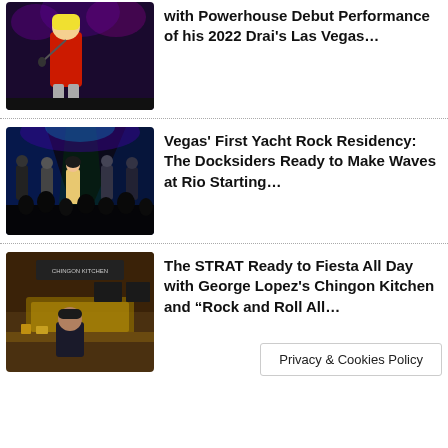[Figure (photo): Singer in red outfit performing on stage, leaning forward into microphone]
with Powerhouse Debut Performance of his 2022 Drai's Las Vegas…
[Figure (photo): Band performing on stage with colorful stage lighting, female singer in foreground with crowd silhouettes]
Vegas' First Yacht Rock Residency: The Docksiders Ready to Make Waves at Rio Starting…
[Figure (photo): Restaurant interior with gold/brown decor, man standing behind counter]
The STRAT Ready to Fiesta All Day with George Lopez's Chingon Kitchen and "Rock and Roll All…
Privacy & Cookies Policy